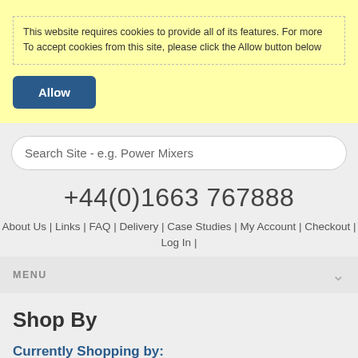This website requires cookies to provide all of its features. For more To accept cookies from this site, please click the Allow button below
Allow
Search Site - e.g. Power Mixers
+44(0)1663 767888
About Us | Links | FAQ | Delivery | Case Studies | My Account | Checkout | Log In |
MENU
Shop By
Currently Shopping by: